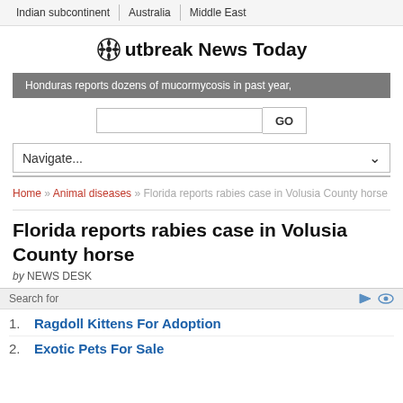Indian subcontinent | Australia | Middle East
Outbreak News Today
Honduras reports dozens of mucormycosis in past year,
Navigate...
Home » Animal diseases » Florida reports rabies case in Volusia County horse
Florida reports rabies case in Volusia County horse
by NEWS DESK
Search for
1. Ragdoll Kittens For Adoption
2. Exotic Pets For Sale